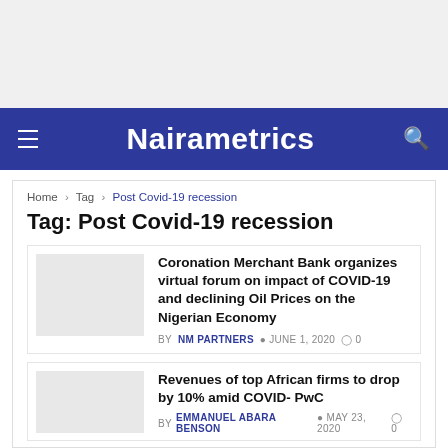[Figure (other): Gray advertisement/banner area at top of page]
Nairametrics
Home › Tag › Post Covid-19 recession
Tag: Post Covid-19 recession
Coronation Merchant Bank organizes virtual forum on impact of COVID-19 and declining Oil Prices on the Nigerian Economy
BY NM PARTNERS  JUNE 1, 2020  0
Revenues of top African firms to drop by 10% amid COVID- PwC
BY EMMANUEL ABARA BENSON  MAY 23, 2020  0